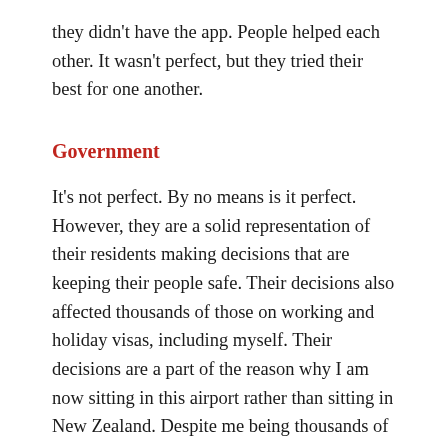they didn't have the app. People helped each other. It wasn't perfect, but they tried their best for one another.
Government
It's not perfect. By no means is it perfect. However, they are a solid representation of their residents making decisions that are keeping their people safe. Their decisions also affected thousands of those on working and holiday visas, including myself. Their decisions are a part of the reason why I am now sitting in this airport rather than sitting in New Zealand. Despite me being thousands of kilometers away, I'm quite pleased with the government and what they're doing.
My final impression of New Zealand is the people